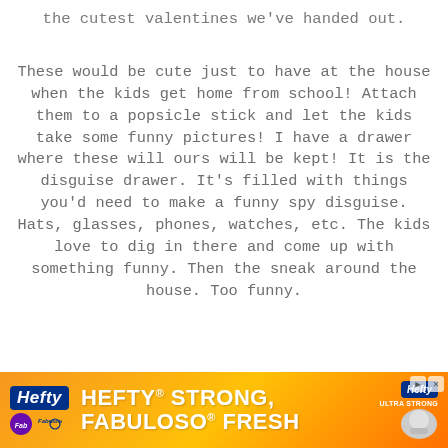the cutest valentines we've handed out.
These would be cute just to have at the house when the kids get home from school!  Attach them to a popsicle stick and let the kids take some funny pictures! I have a drawer where these will ours will be kept! It is the disguise drawer.  It's filled with things you'd need to make a funny spy disguise. Hats, glasses, phones, watches, etc. The kids love to dig in there and come up with something funny. Then the sneak around the house.  Too funny.
[Figure (other): Hefty and Fabuloso advertisement banner with orange gradient background. Text reads 'HEFTY STRONG, FABULOSO FRESH' with logos.]